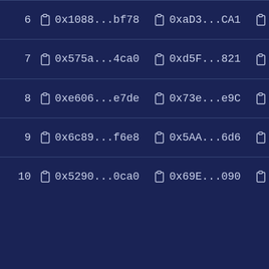| # |  | Col1 |  | Col2 |  | Col3 |
| --- | --- | --- | --- | --- | --- | --- |
| 6 |  | 0x1088...bf78 |  | 0xaD3...CA1 |  | 0x8aF |
| 7 |  | 0x575a...4ca0 |  | 0xd5F...821 |  | 0x8aF |
| 8 |  | 0xe606...e7de |  | 0x73e...e9C |  | 0x68b |
| 9 |  | 0x6c89...f6e8 |  | 0x5AA...6d6 |  | 0x584 |
| 10 |  | 0x5290...0ca0 |  | 0x69E...090 |  | 0x2D |